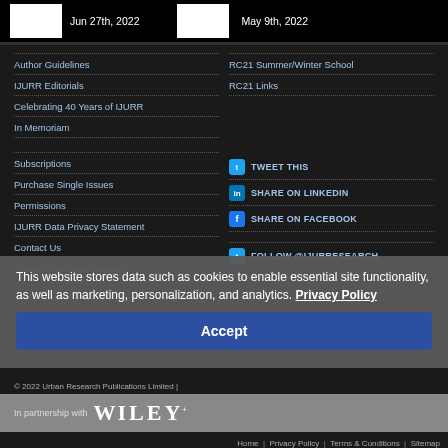Jun 27th, 2022 | May 9th, 2022
Author Guidelines
IJURR Editorials
Celebrating 40 Years of IJURR
In Memoriam
RC21 Summer/Winter School
RC21 Links
Subscriptions
Purchase Single Issues
Permissions
IJURR Data Privacy Statement
Contact Us
TWEET THIS
SHARE ON LINKEDIN
SHARE ON FACEBOOK
FOLLOW @IJURRESEARCH
Contact Technical Support
This website stores data such as cookies to enable essential site functionality, as well as marketing, personalization, and analytics. Privacy Policy
Accept
© 2022 Urban Research Publications Limited | In partnership with WILEY
Home | Privacy Policy | Terms & Conditions | Sitemap